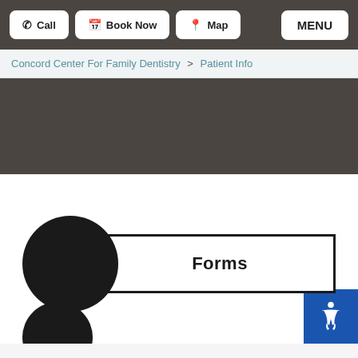Call  Book Now  Map  MENU
Concord Center For Family Dentistry > Patient Info
[Figure (other): Dark gray hero banner area]
Forms
[Figure (other): Partial dark circle at bottom, accessibility icon button (blue)]